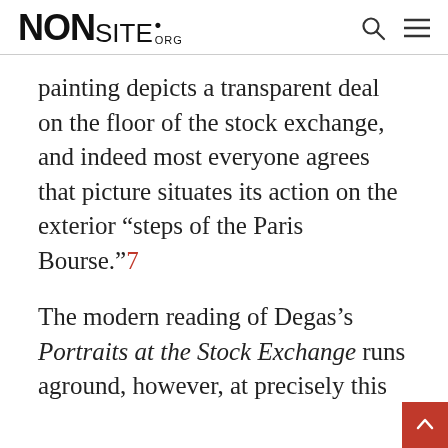NONSITE.ORG
painting depicts a transparent deal on the floor of the stock exchange, and indeed most everyone agrees that picture situates its action on the exterior “steps of the Paris Bourse.”7
The modern reading of Degas’s Portraits at the Stock Exchange runs aground, however, at precisely this